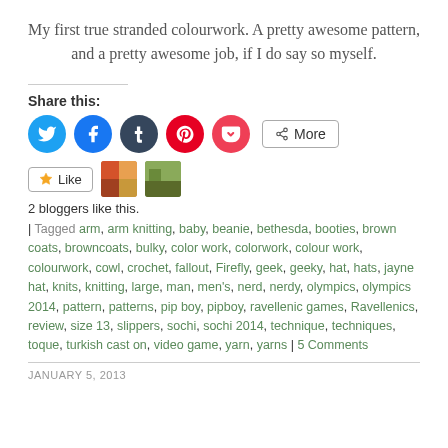My first true stranded colourwork. A pretty awesome pattern, and a pretty awesome job, if I do say so myself.
Share this:
[Figure (other): Social share buttons: Twitter, Facebook, Tumblr, Pinterest, Pocket, and More button]
[Figure (other): Like button with two blogger avatar thumbnails]
2 bloggers like this.
| Tagged arm, arm knitting, baby, beanie, bethesda, booties, brown coats, browncoats, bulky, color work, colorwork, colour work, colourwork, cowl, crochet, fallout, Firefly, geek, geeky, hat, hats, jayne hat, knits, knitting, large, man, men's, nerd, nerdy, olympics, olympics 2014, pattern, patterns, pip boy, pipboy, ravellenic games, Ravellenics, review, size 13, slippers, sochi, sochi 2014, technique, techniques, toque, turkish cast on, video game, yarn, yarns | 5 Comments
JANUARY 5, 2013